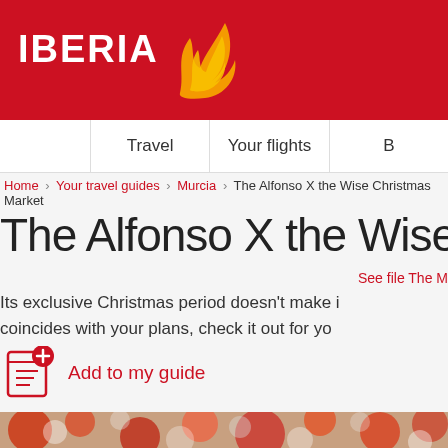[Figure (logo): Iberia airline logo with white text IBERIA and orange bird/flame icon on red background]
Travel | Your flights | B
Home › Your travel guides › Murcia › The Alfonso X the Wise Christmas Market
The Alfonso X the Wise
See file The M
Its exclusive Christmas period doesn't make i coincides with your plans, check it out for yo
Add to my guide
[Figure (photo): Blurred background photo of Christmas ornaments - red and white decorations, bokeh effect]